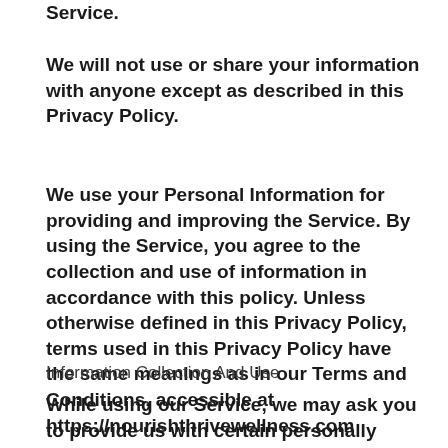Service.
We will not use or share your information with anyone except as described in this Privacy Policy.
We use your Personal Information for providing and improving the Service. By using the Service, you agree to the collection and use of information in accordance with this policy. Unless otherwise defined in this Privacy Policy, terms used in this Privacy Policy have the same meanings as in our Terms and Conditions, accessible at https://nourishthrivewellness.com
Information Collection And Use
While using our Service, we may ask you to provide us with certain personally identifiable information that can be used to contact or